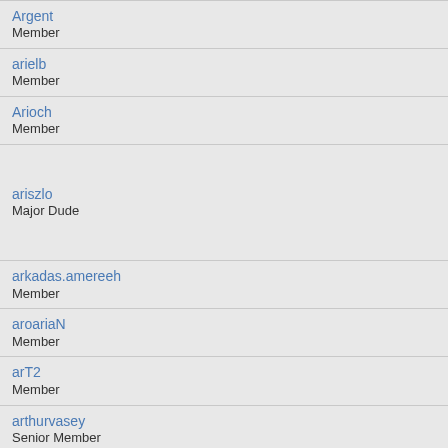Argent
Member
arielb
Member
Arioch
Member
ariszlo
Major Dude
arkadas.amereeh
Member
aroariaN
Member
arT2
Member
arthurvasey
Senior Member
Artoo Detoo
Member